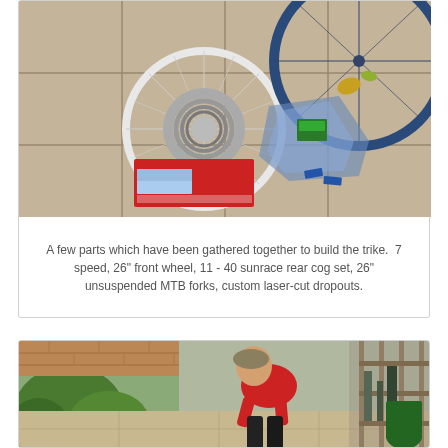[Figure (photo): Bicycle parts laid out on tiled ground: a white 26-inch front wheel with cassette cog set, a blue MTB wheel rim, a red box, plastic bags with components including custom laser-cut dropouts.]
A few parts which have been gathered together to build the trike.  7 speed, 26" front wheel, 11 - 40 sunrace rear cog set, 26" unsuspended MTB forks, custom laser-cut dropouts.
[Figure (photo): A person wearing a red fleece jacket bending over in a backyard/patio area, with a wooden fence, shed with tools, and some greenery/bushes in the background.]